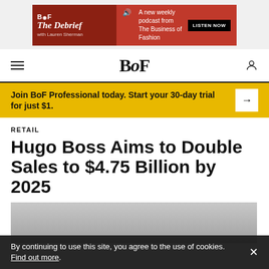[Figure (other): BoF The Debrief advertisement banner — red background, podcast promotion with Lauren Sherman, 'LISTEN NOW' button]
BoF
Join BoF Professional today. Start your 30-day trial for just $1.
RETAIL
Hugo Boss Aims to Double Sales to $4.75 Billion by 2025
[Figure (photo): Partial photo of people, appears to be at a Hugo Boss event]
By continuing to use this site, you agree to the use of cookies. Find out more.